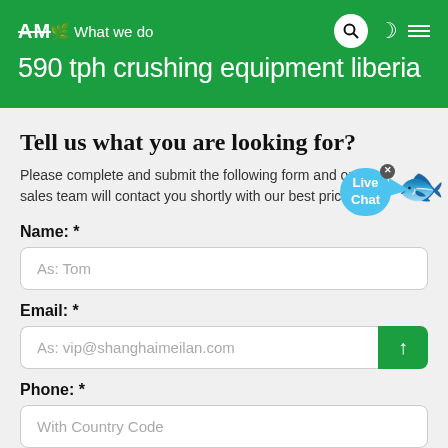AMC – What we do
590 tph crushing equipment liberia
Tell us what you are looking for?
Please complete and submit the following form and our sales team will contact you shortly with our best price.
Name: *
As: Tom
Email: *
As: vip@shanghaimeilan.com
Phone: *
With Country Code
Amount of Aggregate: